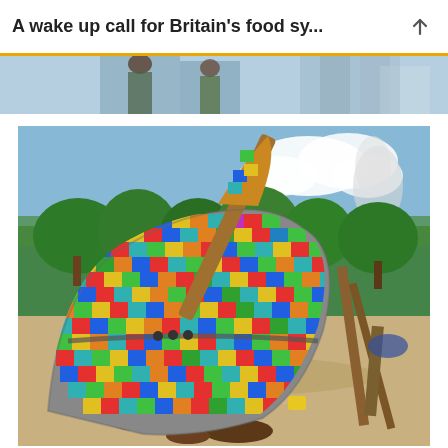A wake up call for Britain's food sy...
[Figure (photo): Partial top image strip showing people, partially cropped at top of content area]
[Figure (photo): A colorfully painted wooden fishing boat with multicolored patchwork pattern of red, yellow, green, blue tiles, beached on sandy shore with wooden poles and green trees in background, blue sky with clouds]